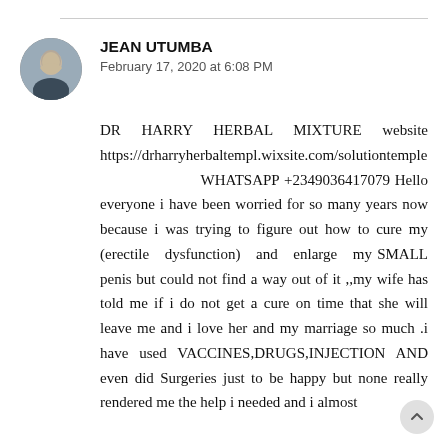[Figure (photo): Circular avatar photo of a person wearing a dark jacket, outdoors background]
JEAN UTUMBA
February 17, 2020 at 6:08 PM
DR HARRY HERBAL MIXTURE website https://drharryherbaltempl.wixsite.com/solutiontemple WHATSAPP +2349036417079 Hello everyone i have been worried for so many years now because i was trying to figure out how to cure my (erectile dysfunction) and enlarge my SMALL penis but could not find a way out of it ,,my wife has told me if i do not get a cure on time that she will leave me and i love her and my marriage so much .i have used VACCINES,DRUGS,INJECTION AND even did Surgeries just to be happy but none really rendered me the help i needed and i almost